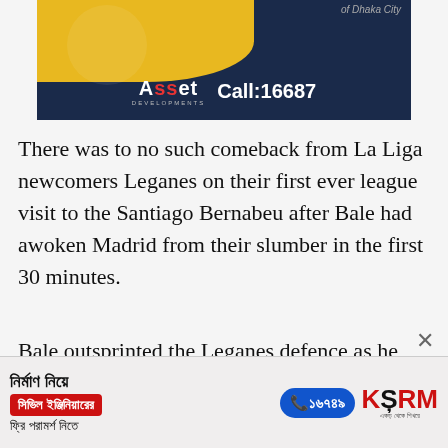[Figure (photo): Advertisement banner for Asset Developments with yellow and dark blue background, showing 'of Dhaka City', Asset Developments logo, and 'Call: 16687']
There was to no such comeback from La Liga newcomers Leganes on their first ever league visit to the Santiago Bernabeu after Bale had awoken Madrid from their slumber in the first 30 minutes.
Bale outsprinted the Leganes defence as he latched onto Isco's through ball and rounded Jon Ander Serantes before slotting home from a
[Figure (photo): Advertisement banner in Bengali for KSRM - civil engineering consultation, with phone number 16749, red and blue buttons, and KSRM logo]